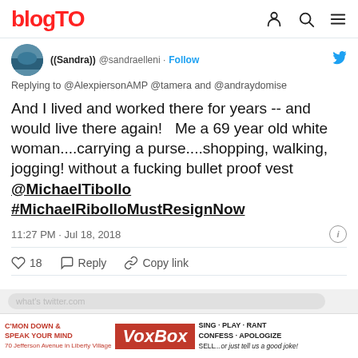blogTO
[Figure (screenshot): Tweet from @sandraelleni replying to @AlexpiersonAMP @tamera and @andraydomise. Text: And I lived and worked there for years -- and would live there again! Me a 69 year old white woman....carrying a purse....shopping, walking, jogging! without a fucking bullet proof vest @MichaelTibollo #MichaelRibolloMustResignNow. Timestamp: 11:27 PM · Jul 18, 2018. Likes: 18.]
Replying to @AlexpiersonAMP @tamera and @andraydomise
And I lived and worked there for years -- and would live there again!   Me a 69 year old white woman....carrying a purse....shopping, walking, jogging! without a fucking bullet proof vest @MichaelTibollo #MichaelRibolloMustResignNow
11:27 PM · Jul 18, 2018
18 · Reply · Copy link